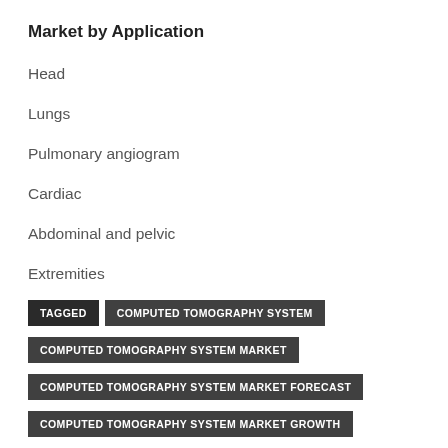Market by Application
Head
Lungs
Pulmonary angiogram
Cardiac
Abdominal and pelvic
Extremities
Others
TAGGED | COMPUTED TOMOGRAPHY SYSTEM | COMPUTED TOMOGRAPHY SYSTEM MARKET | COMPUTED TOMOGRAPHY SYSTEM MARKET FORECAST | COMPUTED TOMOGRAPHY SYSTEM MARKET GROWTH